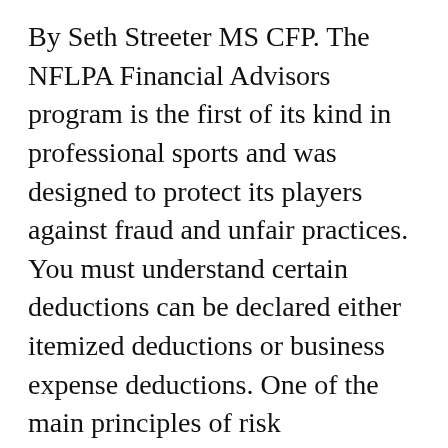By Seth Streeter MS CFP. The NFLPA Financial Advisors program is the first of its kind in professional sports and was designed to protect its players against fraud and unfair practices. You must understand certain deductions can be declared either itemized deductions or business expense deductions. One of the main principles of risk management is to explicitly address uncertainty The uncertainty created from a blind trust by the athlete and no checks and balances by a